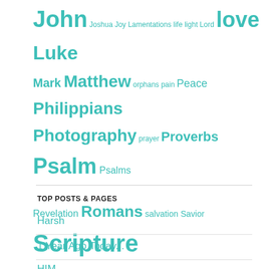[Figure (other): Tag cloud with various biblical and religious terms in teal, sized by frequency. Terms include: John, Joshua, Joy, Lamentations, life, light, Lord, love, Luke, Mark, Matthew, orphans, pain, Peace, Philippians, Photography, prayer, Proverbs, Psalm, Psalms, Revelation, Romans, salvation, Savior, Scripture, Sin, surrender, Susie Stewart, Trials, trust, Truth, Uganda, World]
TOP POSTS & PAGES
Harsh
1 Year Ago Today...
HIM